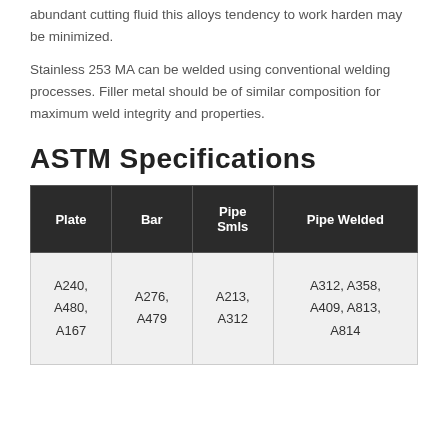abundant cutting fluid this alloys tendency to work harden may be minimized.
Stainless 253 MA can be welded using conventional welding processes. Filler metal should be of similar composition for maximum weld integrity and properties.
ASTM Specifications
| Plate | Bar | Pipe Smls | Pipe Welded |
| --- | --- | --- | --- |
| A240, A480, A167 | A276, A479 | A213, A312 | A312, A358, A409, A813, A814 |